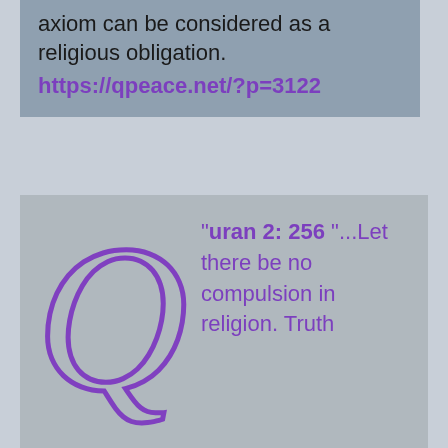axiom can be considered as a religious obligation. https://qpeace.net/?p=3122
"Quran 2: 256 "...Let there be no compulsion in religion. Truth stands out clear from Error. whoever rejects evil and believes in Allah has grasped the most trustworthy hand-hold, that never breaks..."